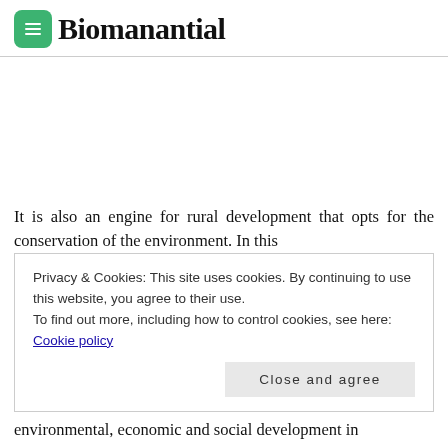Biomanantial
It is also an engine for rural development that opts for the conservation of the environment. In this
Privacy & Cookies: This site uses cookies. By continuing to use this website, you agree to their use.
To find out more, including how to control cookies, see here: Cookie policy
environmental, economic and social development in